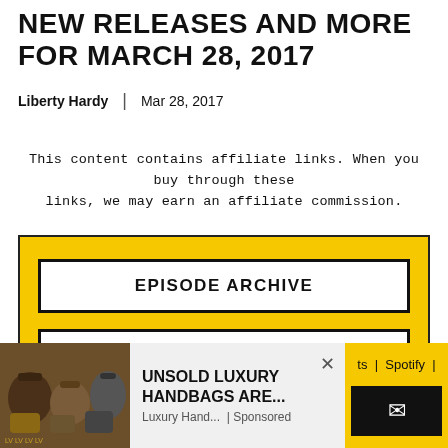NEW RELEASES AND MORE FOR MARCH 28, 2017
Liberty Hardy  |  Mar 28, 2017
This content contains affiliate links. When you buy through these links, we may earn an affiliate commission.
EPISODE ARCHIVE
VIEW ALL PODCASTS
SUBSCRIBE
[Figure (other): Advertisement banner showing luxury handbags with text: UNSOLD LUXURY HANDBAGS ARE... Luxury Hand... | Sponsored]